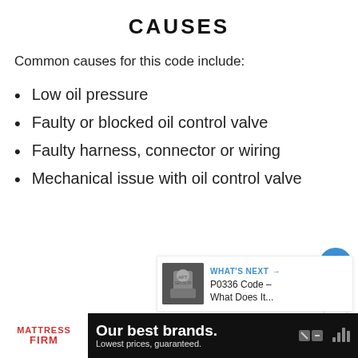CAUSES
Common causes for this code include:
Low oil pressure
Faulty or blocked oil control valve
Faulty harness, connector or wiring
Mechanical issue with oil control valve
[Figure (other): Social action buttons: heart/like button (blue circle), count '1', and share button (white circle with share icon)]
[Figure (other): What's Next promo card: thumbnail image of a person, label 'WHAT'S NEXT →', title 'P0336 Code – What Does It...']
[Figure (other): Advertisement banner: Mattress Firm logo, text 'Our best brands. Lowest prices, guaranteed.' on dark background]